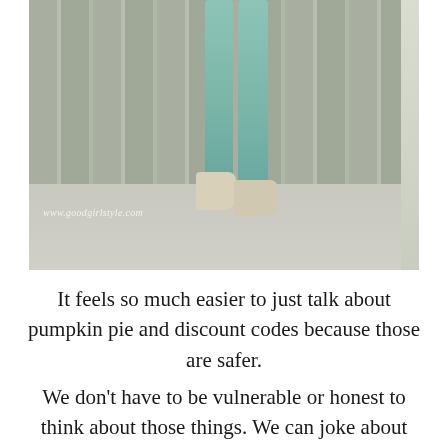[Figure (photo): Photo showing the lower half of a person wearing mint/teal capri pants and beige wedge heeled shoes, standing in front of vertical grey metal fence slats on a concrete floor. Watermark reads: www.goodgirlstyle.com]
It feels so much easier to just talk about pumpkin pie and discount codes because those are safer.
We don't have to be vulnerable or honest to think about those things. We can joke about them easily. And I made my fair share of jokes